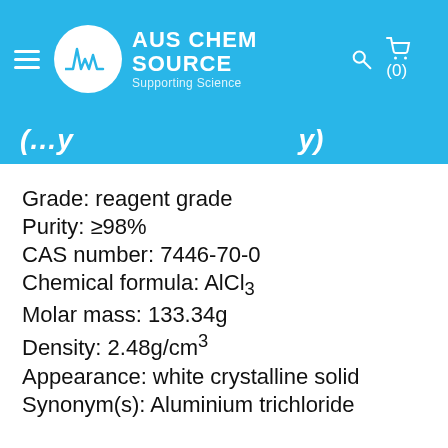AUS CHEM SOURCE — Supporting Science
(partial title cut off)
Grade: reagent grade
Purity: ≥98%
CAS number: 7446-70-0
Chemical formula: AlCl₃
Molar mass: 133.34g
Density: 2.48g/cm³
Appearance: white crystalline solid
Synonym(s): Aluminium trichloride